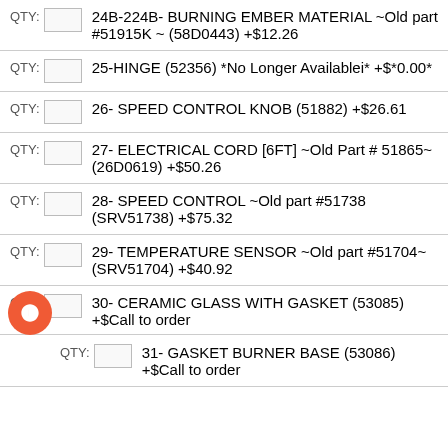QTY: 24B-224B- BURNING EMBER MATERIAL ~Old part #51915K ~ (58D0443) +$12.26
QTY: 25-HINGE (52356) *No Longer Availablei* +$*0.00*
QTY: 26- SPEED CONTROL KNOB (51882) +$26.61
QTY: 27- ELECTRICAL CORD [6FT] ~Old Part # 51865~ (26D0619) +$50.26
QTY: 28- SPEED CONTROL ~Old part #51738 (SRV51738) +$75.32
QTY: 29- TEMPERATURE SENSOR ~Old part #51704~ (SRV51704) +$40.92
QTY: 30- CERAMIC GLASS WITH GASKET (53085) +$Call to order
QTY: 31- GASKET BURNER BASE (53086) +$Call to order